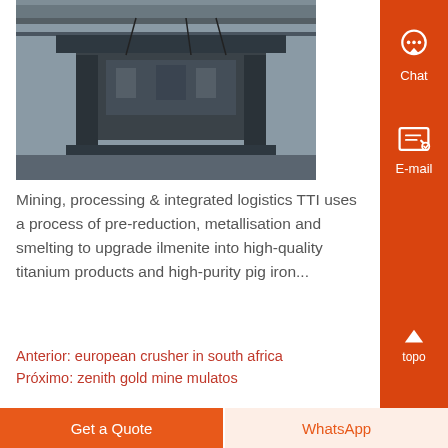[Figure (photo): Industrial heavy machinery inside a large factory/smelting facility — overhead crane or press structure visible in a warehouse environment.]
Mining, processing & integrated logistics TTI uses a process of pre-reduction, metallisation and smelting to upgrade ilmenite into high-quality titanium products and high-purity pig iron...
Anterior: european crusher in south africa
Próximo: zenith gold mine mulatos
Get a Quote
WhatsApp